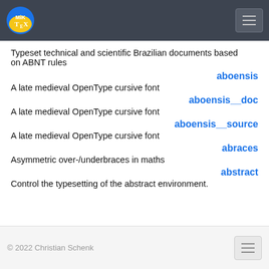MiKTeX logo and navigation
Typeset technical and scientific Brazilian documents based on ABNT rules
aboensis
A late medieval OpenType cursive font
aboensis__doc
A late medieval OpenType cursive font
aboensis__source
A late medieval OpenType cursive font
abraces
Asymmetric over-/underbraces in maths
abstract
Control the typesetting of the abstract environment.
© 2022 Christian Schenk